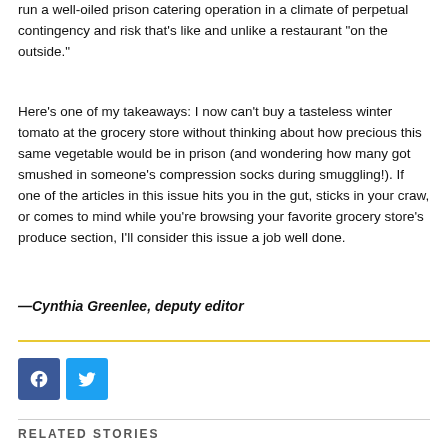run a well-oiled prison catering operation in a climate of perpetual contingency and risk that's like and unlike a restaurant “on the outside.”
Here’s one of my takeaways: I now can’t buy a tasteless winter tomato at the grocery store without thinking about how precious this same vegetable would be in prison (and wondering how many got smushed in someone’s compression socks during smuggling!). If one of the articles in this issue hits you in the gut, sticks in your craw, or comes to mind while you’re browsing your favorite grocery store’s produce section, I’ll consider this issue a job well done.
—Cynthia Greenlee, deputy editor
[Figure (other): Facebook and Twitter social media share icons]
RELATED STORIES